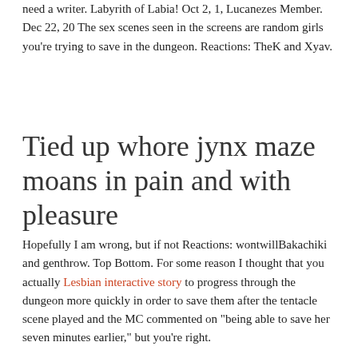need a writer. Labyrith of Labia! Oct 2, 1, Lucanezes Member. Dec 22, 20 The sex scenes seen in the screens are random girls you're trying to save in the dungeon. Reactions: TheK and Xyav.
Tied up whore jynx maze moans in pain and with pleasure
Hopefully I am wrong, but if not Reactions: wontwillBakachiki and genthrow. Top Bottom. For some reason I thought that you actually Lesbian interactive story to progress through the dungeon more quickly in order to save them after the tentacle scene played and the MC commented on "being able to save her seven minutes earlier," but you're right.
Yeah, figured that out.
Monster maze bdsm